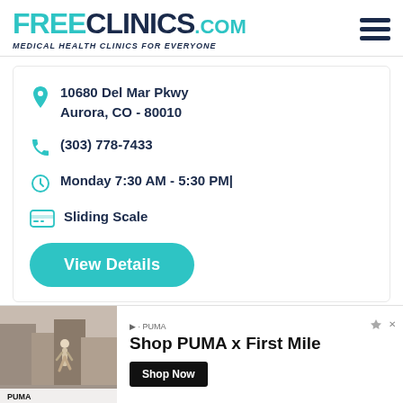FREE CLINICS.COM — Medical Health Clinics For Everyone
10680 Del Mar Pkwy
Aurora, CO - 80010
(303) 778-7433
Monday 7:30 AM - 5:30 PM|
Sliding Scale
View Details
[Figure (screenshot): Advertisement banner for PUMA Shop x First Mile featuring a person running on a street, with 'Shop PUMA x First Mile' text and 'Shop Now' button.]